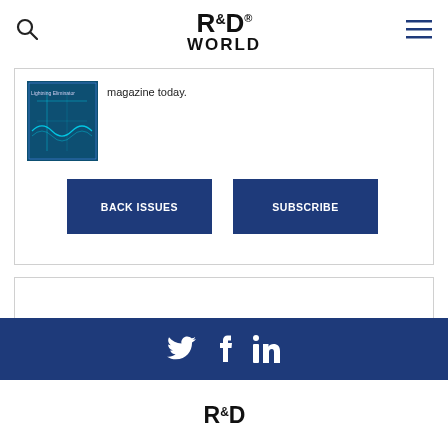R&D World logo with search and menu icons
[Figure (screenshot): R&D World magazine cover thumbnail – teal/blue with circuit imagery]
magazine today.
BACK ISSUES
SUBSCRIBE
[Figure (other): Empty bordered content box (advertisement or widget placeholder)]
[Figure (other): Social media footer bar with Twitter, Facebook, LinkedIn icons on dark blue background]
[Figure (logo): R&D World logo at bottom of page]